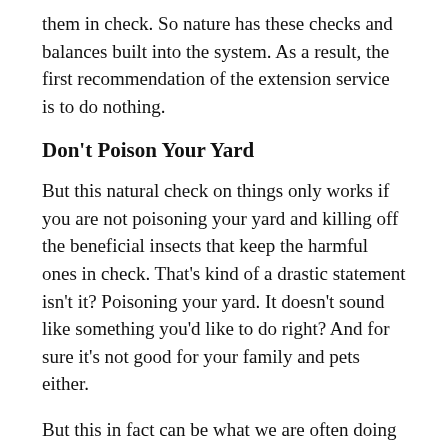them in check. So nature has these checks and balances built into the system. As a result, the first recommendation of the extension service is to do nothing.
Don't Poison Your Yard
But this natural check on things only works if you are not poisoning your yard and killing off the beneficial insects that keep the harmful ones in check. That's kind of a drastic statement isn't it? Poisoning your yard. It doesn't sound like something you'd like to do right? And for sure it's not good for your family and pets either.
But this in fact can be what we are often doing when we try to control weeds and pests. The most glaring example of this is a product called Round Up. I'm sure you've seen it advertised on TV. In August, a jury ruled